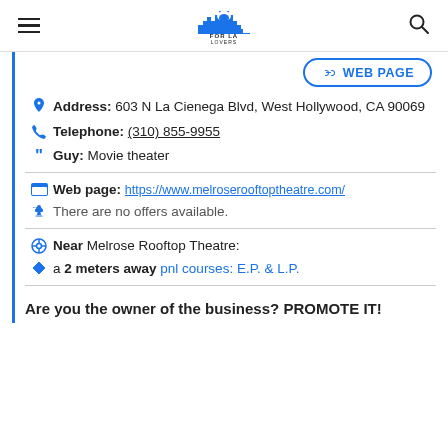FOR LA LOVERS
WEB PAGE
Address: 603 N La Cienega Blvd, West Hollywood, CA 90069
Telephone: (310) 855-9955
Guy: Movie theater
Web page: https://www.melroserooftoptheatre.com/
There are no offers available.
Near Melrose Rooftop Theatre:
a 2 meters away pnl courses: E.P. & L.P.
Are you the owner of the business? PROMOTE IT!